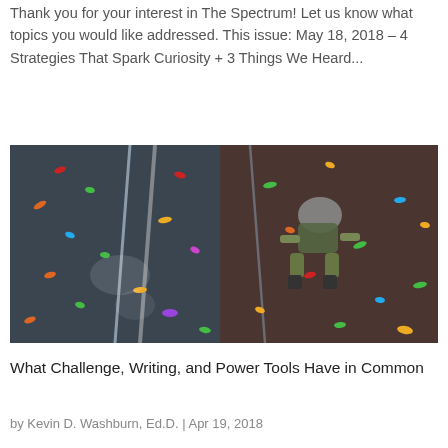Thank you for your interest in The Spectrum! Let us know what topics you would like addressed. This issue: May 18, 2018 – 4 Strategies That Spark Curiosity + 3 Things We Heard...
[Figure (photo): A person climbing an indoor rock climbing wall covered with colorful holds, viewed from above. The climber is wearing grey and green clothing.]
What Challenge, Writing, and Power Tools Have in Common
by Kevin D. Washburn, Ed.D. | Apr 19, 2018